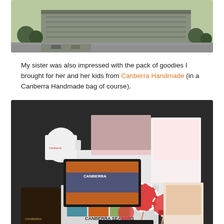[Figure (photo): Aerial or elevated view of a multi-story office building surrounded by trees and a road, taken from above.]
My sister was also impressed with the pack of goodies I brought for her and her kids from Canberra Handmade (in a Canberra Handmade bag of course).
[Figure (photo): A spread of Canberra-themed gifts and souvenirs on a dark surface including a mug, books, candy lollipops, brochures, cards, and a 'Canberra Seasons' artwork, displayed as a pack of goodies from Canberra Handmade.]
Finally thanks to the #Humanbrochure crew at #VisitCanberra who made this amazing experience possible for us as well as all the other #humans and guests!